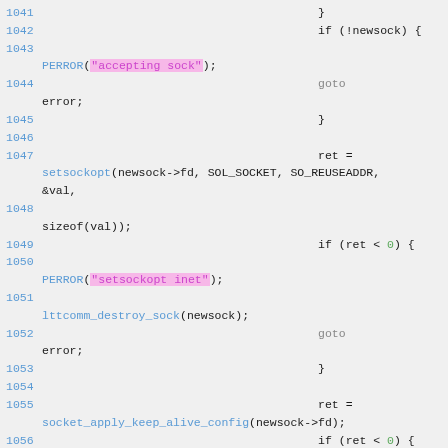[Figure (screenshot): Source code listing showing lines 1041-1056 of a C program with syntax highlighting. Blue line numbers, cyan/blue keywords, pink highlighted string literals, green numeric literals, on a light gray background.]